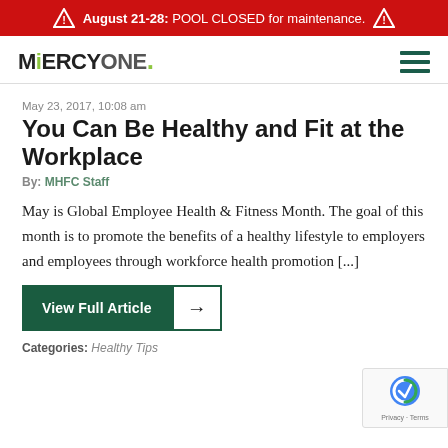August 21-28: POOL CLOSED for maintenance.
[Figure (logo): MercyOne logo with green accent on letter i and period]
May 23, 2017, 10:08 am
You Can Be Healthy and Fit at the Workplace
By: MHFC Staff
May is Global Employee Health & Fitness Month. The goal of this month is to promote the benefits of a healthy lifestyle to employers and employees through workforce health promotion [...]
View Full Article →
Categories: Healthy Tips